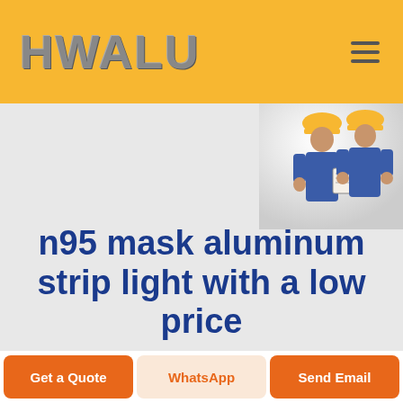HWALU
[Figure (photo): Two workers in yellow hard hats and blue overalls looking at a clipboard/tablet, on a light background, positioned in the top-right corner of the hero section]
n95 mask aluminum strip light with a low price
95 mask aluminum strip light...
Get a Quote
WhatsApp
Send Email